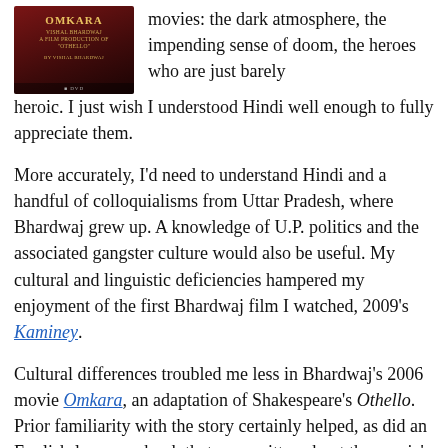[Figure (photo): Movie cover/box art for Omkara, a dark red background with the movie title in gold stylized text, with subtitle text and DVD logo at the bottom.]
movies: the dark atmosphere, the impending sense of doom, the heroes who are just barely heroic. I just wish I understood Hindi well enough to fully appreciate them.
More accurately, I'd need to understand Hindi and a handful of colloquialisms from Uttar Pradesh, where Bhardwaj grew up. A knowledge of U.P. politics and the associated gangster culture would also be useful. My cultural and linguistic deficiencies hampered my enjoyment of the first Bhardwaj film I watched, 2009's Kaminey.
Cultural differences troubled me less in Bhardwaj's 2006 movie Omkara, an adaptation of Shakespeare's Othello. Prior familiarity with the story certainly helped, as did an English-language book that was written about the movie's development.